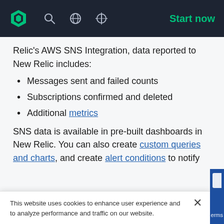New Relic navigation bar with logo, search, globe, theme toggle, and Start now button
Relic's AWS SNS Integration, data reported to New Relic includes:
Messages sent and failed counts
Subscriptions confirmed and deleted
Additional metrics
SNS data is available in pre-built dashboards in New Relic. You can also create custom queries and charts, and create alert conditions to notify
This website uses cookies to enhance user experience and to analyze performance and traffic on our website.